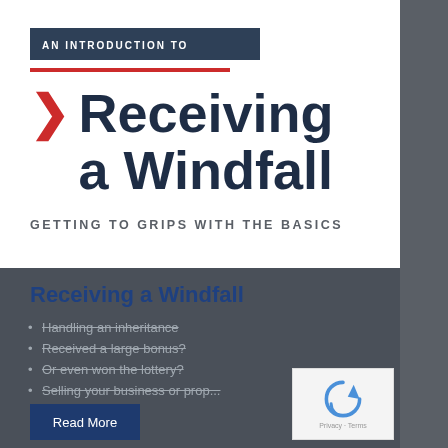AN INTRODUCTION TO
Receiving a Windfall
GETTING TO GRIPS WITH THE BASICS
Receiving a Windfall
Handling an inheritance
Received a large bonus?
Or even won the lottery?
Selling your business or prop...
Read More